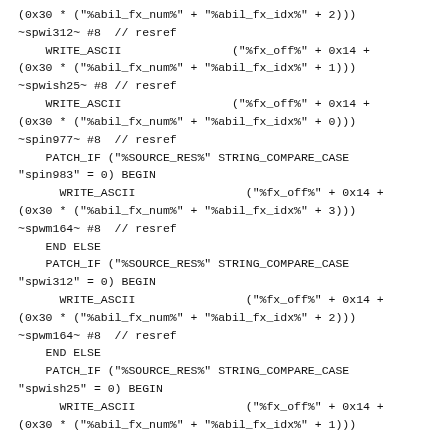(0x30 * ("%abil_fx_num%" + "%abil_fx_idx%" + 2)))
~spwi312~ #8  // resref
    WRITE_ASCII                ("%fx_off%" + 0x14 +
(0x30 * ("%abil_fx_num%" + "%abil_fx_idx%" + 1)))
~spwish25~ #8 // resref
    WRITE_ASCII                ("%fx_off%" + 0x14 +
(0x30 * ("%abil_fx_num%" + "%abil_fx_idx%" + 0)))
~spin977~ #8  // resref
    PATCH_IF ("%SOURCE_RES%" STRING_COMPARE_CASE
"spin983" = 0) BEGIN
      WRITE_ASCII                ("%fx_off%" + 0x14 +
(0x30 * ("%abil_fx_num%" + "%abil_fx_idx%" + 3)))
~spwm164~ #8  // resref
    END ELSE
    PATCH_IF ("%SOURCE_RES%" STRING_COMPARE_CASE
"spwi312" = 0) BEGIN
      WRITE_ASCII                ("%fx_off%" + 0x14 +
(0x30 * ("%abil_fx_num%" + "%abil_fx_idx%" + 2)))
~spwm164~ #8  // resref
    END ELSE
    PATCH_IF ("%SOURCE_RES%" STRING_COMPARE_CASE
"spwish25" = 0) BEGIN
      WRITE_ASCII                ("%fx_off%" + 0x14 +
(0x30 * ("%abil_fx_num%" + "%abil_fx_idx%" + 1)))